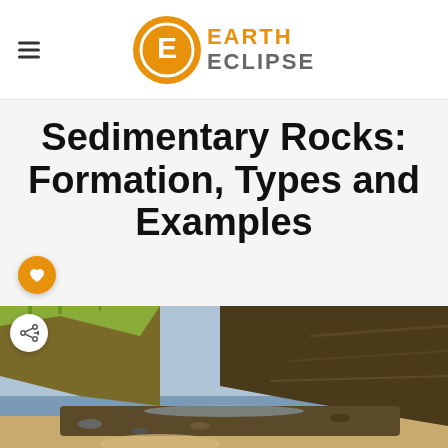Earth Eclipse
Sedimentary Rocks: Formation, Types and Examples
[Figure (photo): Coastal rocky beach landscape with sedimentary rock layers visible in cliffs and shoreline, showing layered rock formations.]